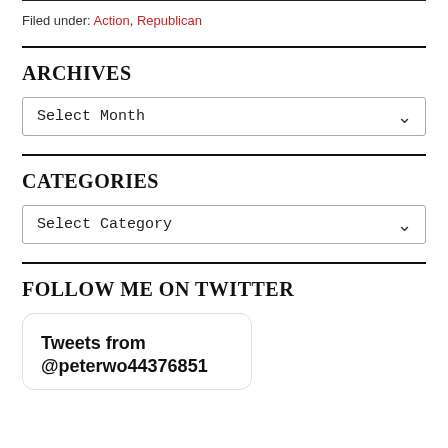Filed under: Action, Republican
ARCHIVES
Select Month
CATEGORIES
Select Category
FOLLOW ME ON TWITTER
Tweets from @peterwo44376851